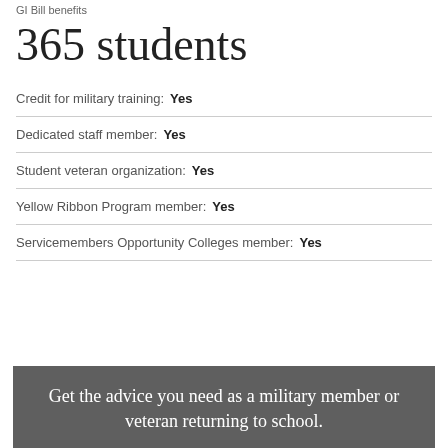GI Bill benefits
365 students
Credit for military training:  Yes
Dedicated staff member:  Yes
Student veteran organization:  Yes
Yellow Ribbon Program member:  Yes
Servicemembers Opportunity Colleges member:  Yes
Get the advice you need as a military member or veteran returning to school.